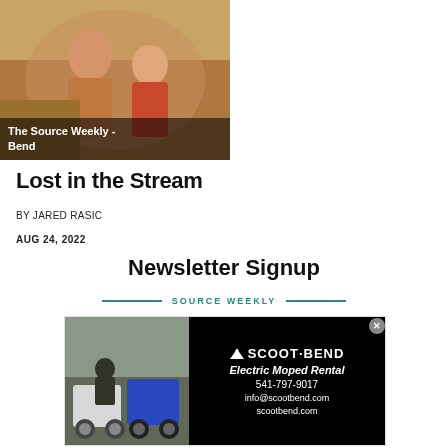[Figure (photo): Two people sitting together outdoors near a vintage vehicle, warm tones]
The Source Weekly - Bend
Lost in the Stream
BY JARED RASIC
AUG 24, 2022
Newsletter Signup
SOURCE WEEKLY
[Figure (photo): Scoot Bend advertisement showing electric mopeds and business info: 541-797-9017, info@scootbend.com, scootbend.com]